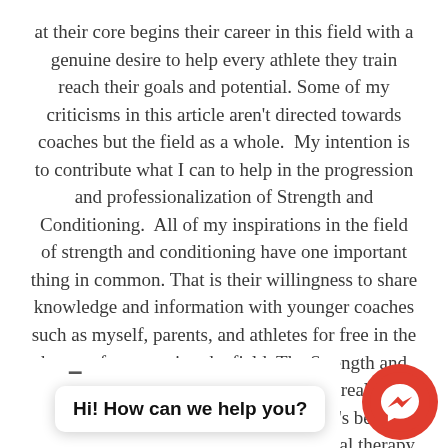at their core begins their career in this field with a genuine desire to help every athlete they train reach their goals and potential. Some of my criticisms in this article aren't directed towards coaches but the field as a whole.  My intention is to contribute what I can to help in the progression and professionalization of Strength and Conditioning.  All of my inspirations in the field of strength and conditioning have one important thing in common. That is their willingness to share knowledge and information with younger coaches such as myself, parents, and athletes for free in the hopes of progressing the field. The Strength and Conditioning field is young and has really exploded the last 20 years. However, it's behind the fields of sports medicine, and physical therapy in terms of knowledge different points in the same spectrum.